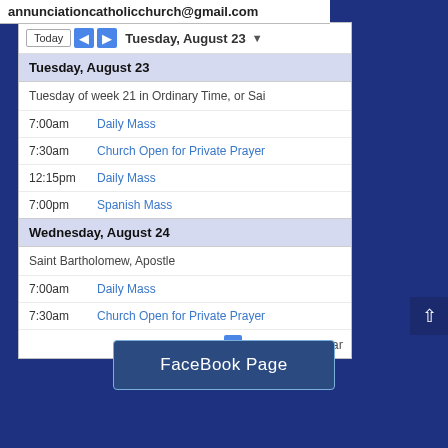annunciationcatholicchurch@gmail.com
[Figure (screenshot): Google Calendar widget embedded in a church website showing Tuesday August 23 and Wednesday August 24 events including Daily Mass, Church Open for Private Prayer, Spanish Mass, and Saint Bartholomew Apostle feast day]
FaceBook Page